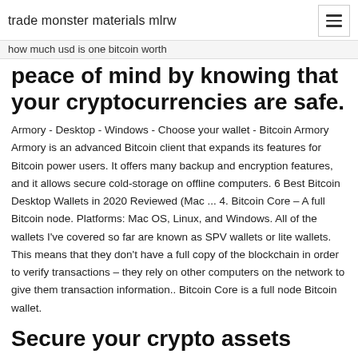trade monster materials mlrw
how much usd is one bitcoin worth
peace of mind by knowing that your cryptocurrencies are safe.
Armory - Desktop - Windows - Choose your wallet - Bitcoin Armory Armory is an advanced Bitcoin client that expands its features for Bitcoin power users. It offers many backup and encryption features, and it allows secure cold-storage on offline computers. 6 Best Bitcoin Desktop Wallets in 2020 Reviewed (Mac ... 4. Bitcoin Core – A full Bitcoin node. Platforms: Mac OS, Linux, and Windows. All of the wallets I've covered so far are known as SPV wallets or lite wallets. This means that they don't have a full copy of the blockchain in order to verify transactions – they rely on other computers on the network to give them transaction information.. Bitcoin Core is a full node Bitcoin wallet.
Secure your crypto assets